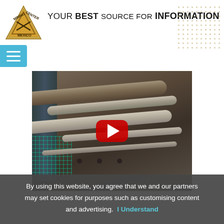[Figure (logo): Mining Center Mexico triangular gold logo with crossed pickaxes]
YOUR BEST SOURCE FOR INFORMATION
[Figure (screenshot): Navigation menu button (hamburger icon) on teal/cyan background]
[Figure (photo): Video thumbnail showing mining equipment machinery with pipes and rails, with YouTube play button overlay]
By using this website, you agree that we and our partners may set cookies for purposes such as customising content and advertising.  I Understand